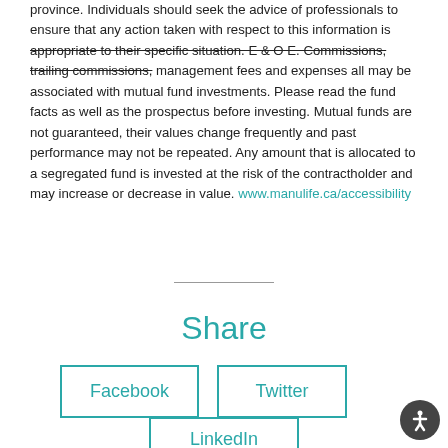province. Individuals should seek the advice of professionals to ensure that any action taken with respect to this information is appropriate to their specific situation. E & O E. Commissions, trailing commissions, management fees and expenses all may be associated with mutual fund investments. Please read the fund facts as well as the prospectus before investing. Mutual funds are not guaranteed, their values change frequently and past performance may not be repeated. Any amount that is allocated to a segregated fund is invested at the risk of the contractholder and may increase or decrease in value. www.manulife.ca/accessibility
Share
Facebook
Twitter
LinkedIn